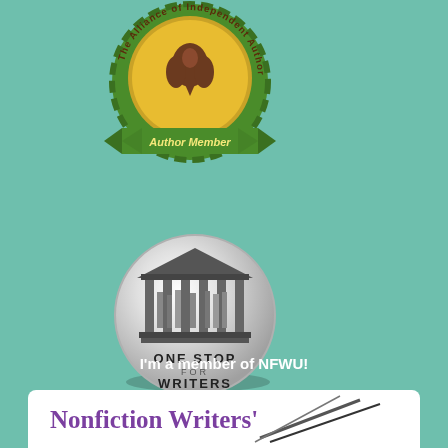[Figure (logo): The Alliance of Independent Authors gold seal badge with green ribbon reading 'Author Member']
[Figure (logo): One Stop for Writers circular silver badge with a classical building/library illustration and text 'ONE STOP FOR WRITERS']
I'm a member of NFWU!
[Figure (logo): Nonfiction Writers' Union banner with purple text and decorative pen/quill strokes]